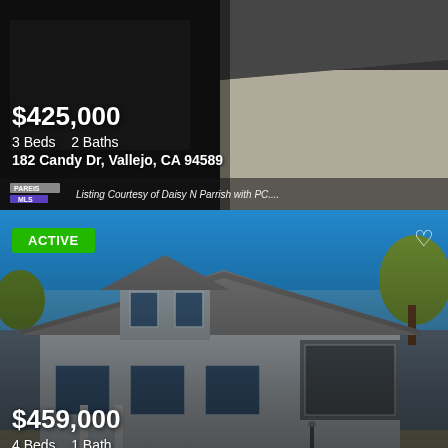[Figure (photo): Listing 1: Dark-toned photo of house exterior at 182 Candy Dr, Vallejo CA 94589, $425,000, 3 beds 2 baths. Shows driveway and dark home facade.]
$425,000
3 Beds   2 Baths
182 Candy Dr, Vallejo, CA 94589
Listing Courtesy of Daisy N Parrish with PC....
[Figure (photo): Listing 2: Blue/grey house exterior photo, 216 Hampshire St, Vallejo CA 94590, $459,000, 4 Beds 1 Bath. Shows two-story grey siding house with steps and trees. ACTIVE badge in top left.]
$459,000
4 Beds   1 Bath
216 Hampshire St, Vallejo, CA 94590
Listing Courtesy of Timothy Garton with RE/MAX ...
[Figure (other): Red banner/footer bar at bottom of page]